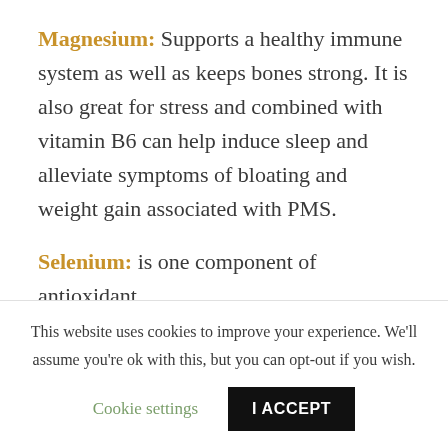Magnesium: Supports a healthy immune system as well as keeps bones strong. It is also great for stress and combined with vitamin B6 can help induce sleep and alleviate symptoms of bloating and weight gain associated with PMS.
Selenium: is one component of antioxidant
This website uses cookies to improve your experience. We'll assume you're ok with this, but you can opt-out if you wish.
Cookie settings
I ACCEPT